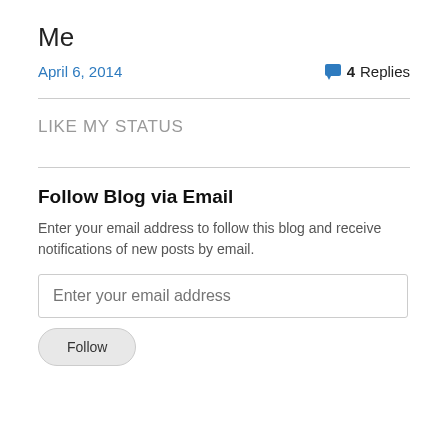Me
April 6, 2014   4 Replies
LIKE MY STATUS
Follow Blog via Email
Enter your email address to follow this blog and receive notifications of new posts by email.
Enter your email address
Follow